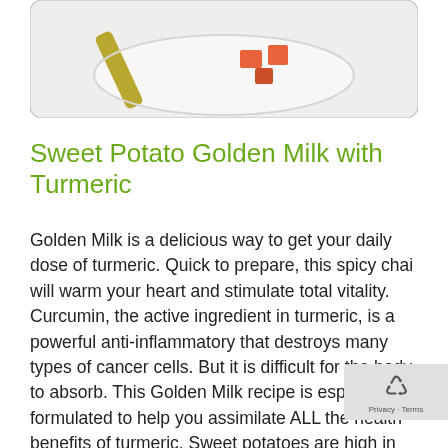[Figure (photo): A photo of a white plate with sweet potato pieces and a golden-colored spoon, on a white textured background.]
Sweet Potato Golden Milk with Turmeric
Golden Milk is a delicious way to get your daily dose of turmeric. Quick to prepare, this spicy chai will warm your heart and stimulate total vitality. Curcumin, the active ingredient in turmeric, is a powerful anti-inflammatory that destroys many types of cancer cells. But it is difficult for the body to absorb. This Golden Milk recipe is especially formulated to help you assimilate ALL the health benefits of turmeric. Sweet potatoes are high in fiber, vitamin C, potassium, pantothenic acid (vitamin B5), niacin (vitamin B3), vitamin B6, manganese, magnesium, and copper. They get their orange color